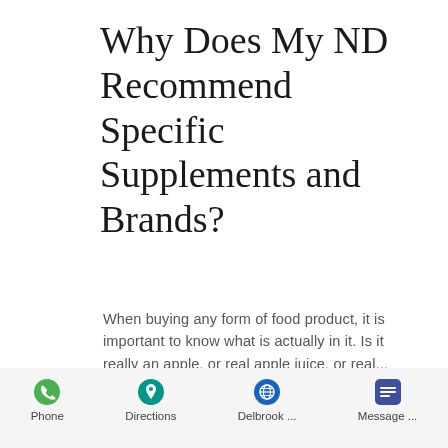Why Does My ND Recommend Specific Supplements and Brands?
When buying any form of food product, it is important to know what is actually in it. Is it really an apple, or real apple juice, or real...
2 ♡
Phone  Directions  Delbrook ...  Message ...